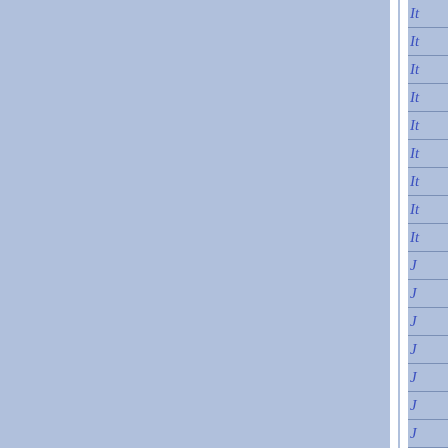[Figure (other): A partial view of what appears to be a table or index with two blue-colored columns/panels separated by a white vertical divider. On the right edge, a narrow column shows truncated italic blue text entries beginning with 'It' (rows 1-9) and 'J' (rows 10-16), suggesting alphabetical index entries. The background is light blue-gray (#b0c0dc).]